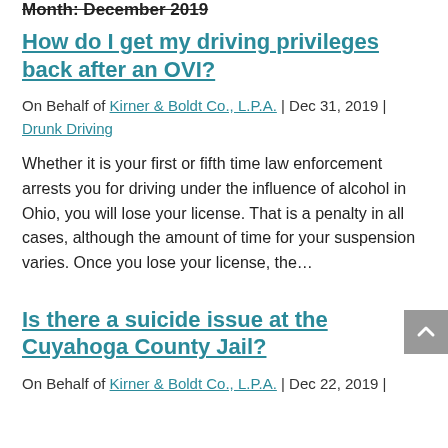Month: December 2019
How do I get my driving privileges back after an OVI?
On Behalf of Kirner & Boldt Co., L.P.A. | Dec 31, 2019 | Drunk Driving
Whether it is your first or fifth time law enforcement arrests you for driving under the influence of alcohol in Ohio, you will lose your license. That is a penalty in all cases, although the amount of time for your suspension varies. Once you lose your license, the…
Is there a suicide issue at the Cuyahoga County Jail?
On Behalf of Kirner & Boldt Co., L.P.A. | Dec 22, 2019 |